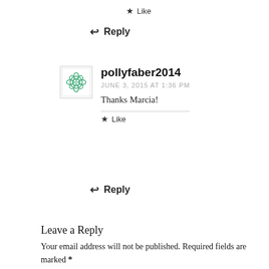★ Like
↩ Reply
pollyfaber2014
JUNE 3, 2015 AT 1:36 PM
Thanks Marcia!
★ Like
↩ Reply
Leave a Reply
Your email address will not be published. Required fields are marked *